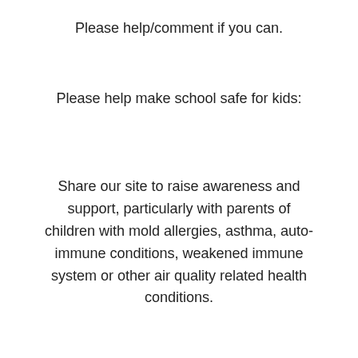Please help/comment if you can.
Please help make school safe for kids:
Share our site to raise awareness and support, particularly with parents of children with mold allergies, asthma, auto-immune conditions, weakened immune system or other air quality related health conditions.
Contact the Julie Schmidt, jschmidt@kcsd96.org, Country Meadows Principal Meghan Bird, mbird@kcsd96.org, Principal